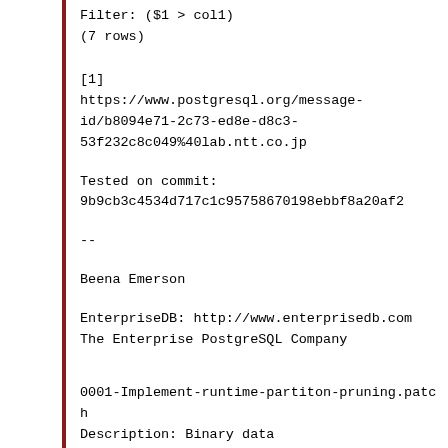Filter: ($1 > col1)
(7 rows)
[1]
https://www.postgresql.org/message-id/b8094e71-2c73-ed8e-d8c3-53f232c8c049%40lab.ntt.co.jp
Tested on commit:
9b9cb3c4534d717c1c95758670198ebbf8a20af2
--
Beena Emerson
EnterpriseDB: http://www.enterprisedb.com
The Enterprise PostgreSQL Company
0001-Implement-runtime-partiton-pruning.patch
Description: Binary data